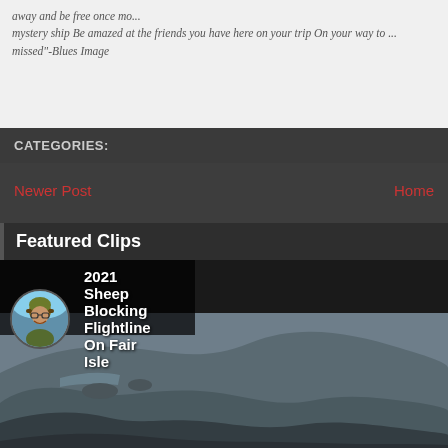away and be free once mo... mystery ship Be amazed at the friends you have here on your trip On your way to ... missed"-Blues Image
CATEGORIES:
Newer Post
Home
Featured Clips
[Figure (screenshot): YouTube video thumbnail for '2021 Sheep Blocking Flightline On Fair Isle' with coastal cliff landscape and play button, labeled 'Fair Isle November 11, 2021']